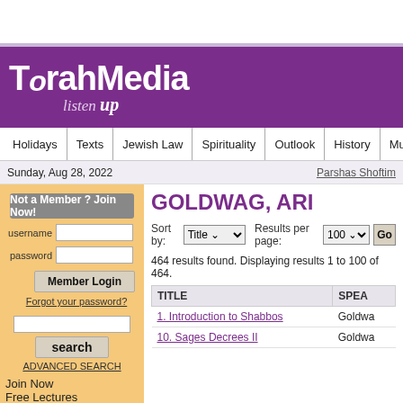[Figure (logo): TorahMedia listen up logo on purple banner]
Holidays | Texts | Jewish Law | Spirituality | Outlook | History | Music
Sunday, Aug 28, 2022
Parshas Shoftim
Not a Member ? Join Now!
username
password
Member Login
Forgot your password?
search
ADVANCED SEARCH
Join Now
Free Lectures
GOLDWAG, ARI
Sort by: Title   Results per page: 100   Go
464 results found. Displaying results 1 to 100 of 464.
| TITLE | SPEA |
| --- | --- |
| 1. Introduction to Shabbos | Goldwa |
| 10. Sages Decrees II | Goldwa |